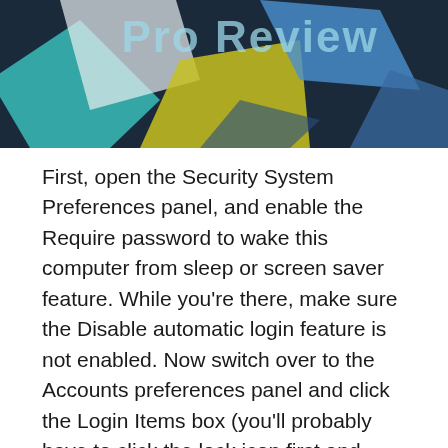[Figure (photo): Banner image showing colorful geometric card shapes (teal, yellow, blue, white) with text 'Pro Review' overlaid in light blue on a dark background]
First, open the Security System Preferences panel, and enable the Require password to wake this computer from sleep or screen saver feature. While you’re there, make sure the Disable automatic login feature is not enabled. Now switch over to the Accounts preferences panel and click the Login Items box (you’ll probably have to click the lock icon first and authenticate). Enable the Automatically log in as feature, and set the desired account in the pop-up menu. You’ll then have to authenticate again.
Finally, click on your account in the Accounts panel (the one listed in the column under My Account),